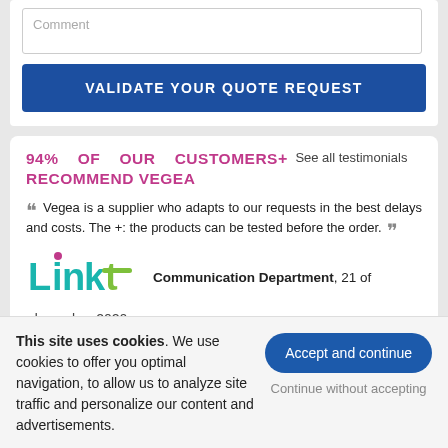Comment
VALIDATE YOUR QUOTE REQUEST
94% OF OUR CUSTOMERS+ See all testimonials RECOMMEND VEGEA
Vegea is a supplier who adapts to our requests in the best delays and costs. The +: the products can be tested before the order.
[Figure (logo): Linkt company logo in teal and green colors]
Communication Department, 21 of december 2020
This site uses cookies. We use cookies to offer you optimal navigation, to allow us to analyze site traffic and personalize our content and advertisements.
Accept and continue
Continue without accepting